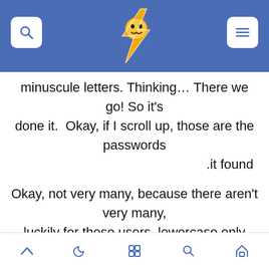[Figure (screenshot): Website header bar with blue background, search icon on left, hamburger menu on right, and a lightning bolt mascot logo in the center]
minuscule letters. Thinking… There we go! So it's done it. Okay, if I scroll up, those are the passwords it found. Okay, not very many, because there aren't very many, luckily for these users, lowercase only passwords. [odd cut] …Seven of them But it went through the complete combination of grapheme letters at seven length, in, you know, a
[Figure (screenshot): Mobile bottom navigation bar with icons: up arrow, moon, grid, search, home]